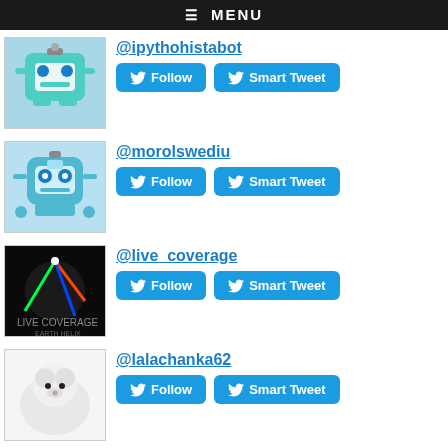≡ MENU
@ipythohistabot
@morolswediu
@live_coverage
@lalachanka62
@coderretweet
@twood3
@adunlea
@das_sharu